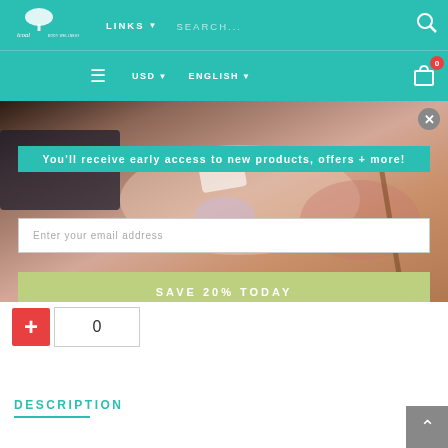LINKS | SEARCH... | USD | ENGLISH | Cart 0
[Figure (screenshot): E-commerce website header with teal navigation bar showing logo, LINKS dropdown, SEARCH field, hamburger menu, USD currency selector, ENGLISH language selector, and cart icon with badge showing 0]
[Figure (photo): Background photo of spa/cosmetics products including soaps and natural ingredients held in hands]
You'll receive early access to new products, offers + more!
Enter your email address
SAVE 20% TODAY
0
DESCRIPTION